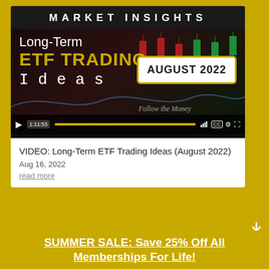[Figure (screenshot): Video thumbnail for 'Long-Term ETF Trading Ideas August 2022' with Market Insights header, candlestick chart background, and video player controls showing 1:11:53 duration]
VIDEO: Long-Term ETF Trading Ideas (August 2022)
Aug 16, 2022
read more
SUMMER SALE: Save 25% Off All Memberships For Life!